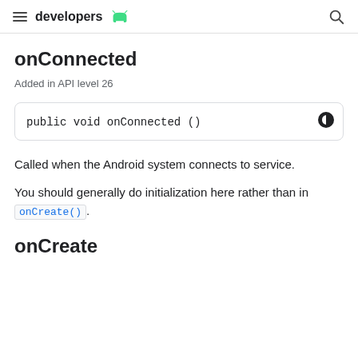developers [Android logo]
onConnected
Added in API level 26
Called when the Android system connects to service.
You should generally do initialization here rather than in onCreate().
onCreate